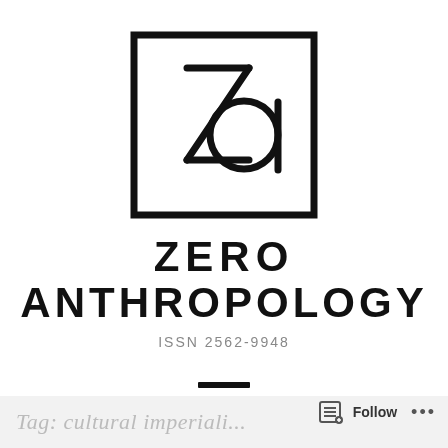[Figure (logo): Zero Anthropology journal logo: a square border containing stylized letters Z and a (lowercase) combined, where Z is large and angular and a is drawn as a circle with a vertical line]
ZERO ANTHROPOLOGY
ISSN 2562-9948
[Figure (other): Hamburger menu icon: three horizontal black lines]
Tag: cultural imperiali…  Follow  •••